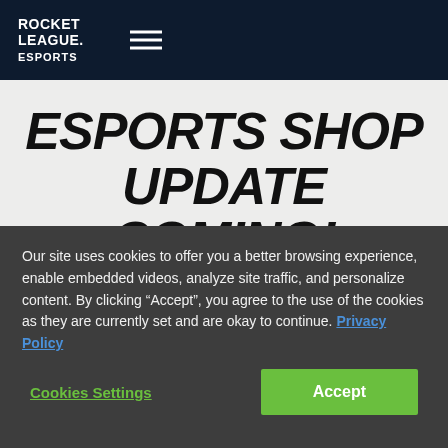ROCKET LEAGUE. ESPORTS
ESPORTS SHOP UPDATE COMING!
FOR THIS NEW RLCS SEASON, THE ESPORTS SHOP IS GETTING A MASSIVE OVERHAUL. COMING SOON IN A GAME UPDATE, THE IN-GAME ESPORTS SHOP WILL ALSO BE TRANSITIONING...
Our site uses cookies to offer you a better browsing experience, enable embedded videos, analyze site traffic, and personalize content. By clicking “Accept”, you agree to the use of the cookies as they are currently set and are okay to continue. Privacy Policy
Cookies Settings | Accept